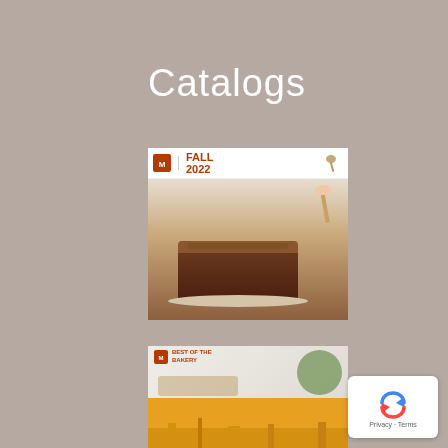Catalogs
[Figure (photo): Fall 2022 catalog cover showing a loaf cake being drizzled with a spoon, with 'FALL 2022' text and a logo in the top left corner]
[Figure (photo): Second catalog cover partially visible, showing food items on top and an orange section at the bottom with a city skyline]